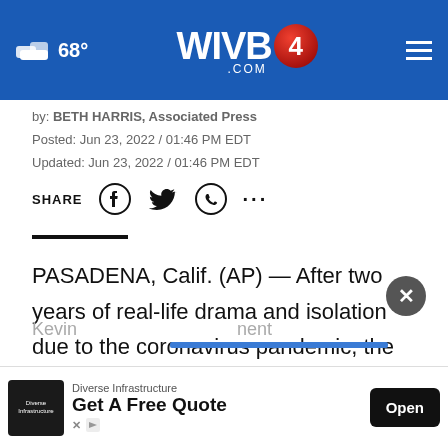68° WIVB4 .COM
by: BETH HARRIS, Associated Press
Posted: Jun 23, 2022 / 01:46 PM EDT
Updated: Jun 23, 2022 / 01:46 PM EDT
SHARE
PASADENA, Calif. (AP) — After two years of real-life drama and isolation due to the coronavirus pandemic, the stars and shows of daytime television are gathering in person to hand out trophies at the Daytime Emmys.
[Figure (screenshot): Advertisement banner: Diverse Infrastructure - Get A Free Quote - Open button]